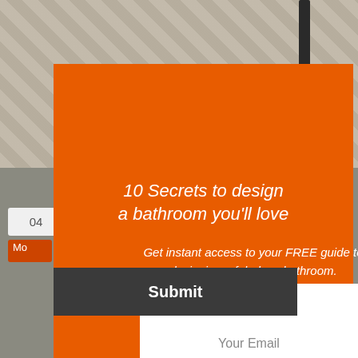[Figure (screenshot): Background webpage showing a herringbone tile floor photo and partial UI elements including a number badge '04' and an orange 'Mo...' button, overlaid by an orange popup modal.]
10 Secrets to design a bathroom you'll love
Get instant access to your FREE guide to designing a fabulous bathroom.
Submit
Your Name
Your Email